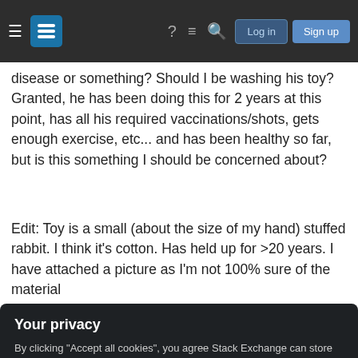Stack Exchange navigation bar with hamburger menu, logo, help, chat, search icons, Log in and Sign up buttons
disease or something? Should I be washing his toy? Granted, he has been doing this for 2 years at this point, has all his required vaccinations/shots, gets enough exercise, etc... and has been healthy so far, but is this something I should be concerned about?
Edit: Toy is a small (about the size of my hand) stuffed rabbit. I think it's cotton. Has held up for >20 years. I have attached a picture as I'm not 100% sure of the material
[Figure (photo): Photo of a cat with a stuffed rabbit toy, partially visible]
Your privacy
By clicking "Accept all cookies", you agree Stack Exchange can store cookies on your device and disclose information in accordance with our Cookie Policy.
Accept all cookies
Customize settings